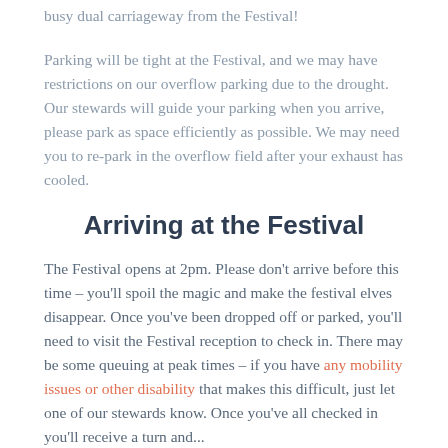busy dual carriageway from the Festival!
Parking will be tight at the Festival, and we may have restrictions on our overflow parking due to the drought. Our stewards will guide your parking when you arrive, please park as space efficiently as possible. We may need you to re-park in the overflow field after your exhaust has cooled.
Arriving at the Festival
The Festival opens at 2pm. Please don't arrive before this time – you'll spoil the magic and make the festival elves disappear. Once you've been dropped off or parked, you'll need to visit the Festival reception to check in. There may be some queuing at peak times – if you have any mobility issues or other disability that makes this difficult, just let one of our stewards know. Once you've all checked in you'll receive a turn and...